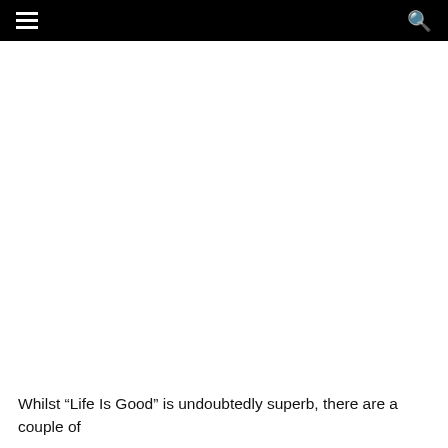[navigation bar with hamburger menu and search icon]
Whilst “Life Is Good” is undoubtedly superb, there are a couple of